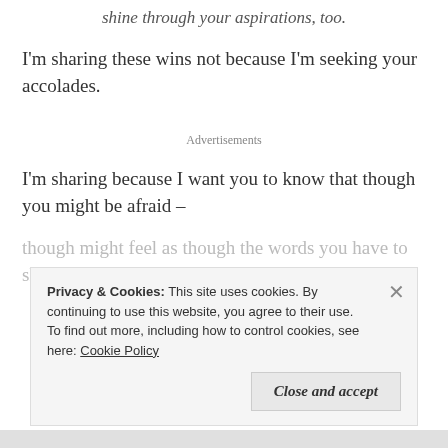shine through your aspirations, too.
I'm sharing these wins not because I'm seeking your accolades.
Advertisements
I'm sharing because I want you to know that though you might be afraid –
though might feel as though the words you have to share
Privacy & Cookies: This site uses cookies. By continuing to use this website, you agree to their use. To find out more, including how to control cookies, see here: Cookie Policy
Close and accept